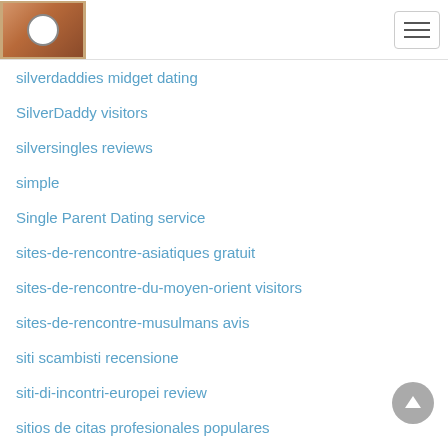Logo and navigation header
silverdaddies midget dating
SilverDaddy visitors
silversingles reviews
simple
Single Parent Dating service
sites-de-rencontre-asiatiques gratuit
sites-de-rencontre-du-moyen-orient visitors
sites-de-rencontre-musulmans avis
siti scambisti recensione
siti-di-incontri-europei review
sitios de citas profesionales populares